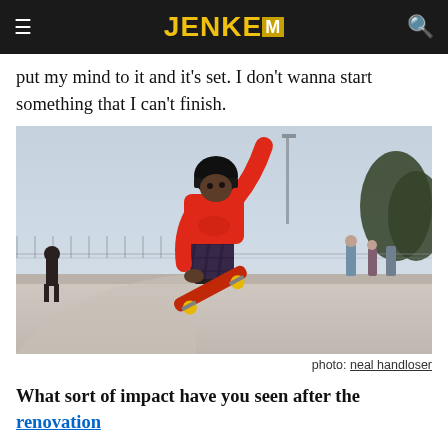JENKEM (logo)
put my mind to it and it's set. I don't wanna start something that I can't finish.
[Figure (photo): Skateboarder in red hoodie, black beanie, and plaid pants performing a trick on a skate park ramp, arms raised, skateboard visible below. Outdoor skate park setting with sky, trees, and other skaters in background.]
photo: neal handloser
What sort of impact have you seen after the renovation